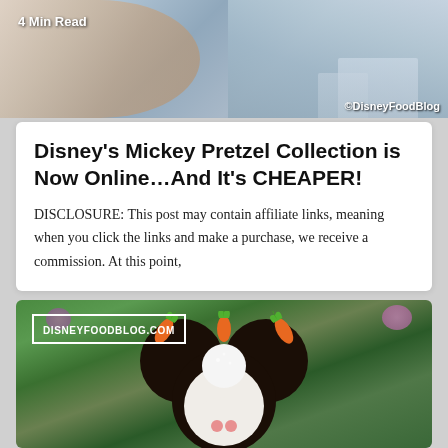[Figure (photo): Top photo showing a hand holding something at a Disney park, with castle architecture in background. Watermark reads ©DisneyFoodBlog. Text overlay says '4 Min Read'.]
Disney's Mickey Pretzel Collection is Now Online...And It's CHEAPER!
DISCLOSURE: This post may contain affiliate links, meaning when you click the links and make a purchase, we receive a commission. At this point,
[Figure (photo): Close-up photo of a Mickey-shaped pretzel decorated as an Easter bunny with white chocolate, Oreo crumbs, candy carrots, and pink dots. DISNEYFOODBLOG.COM watermark visible. Colorful flowers in background.]